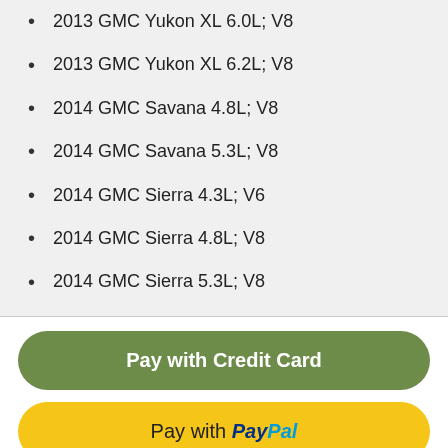2013 GMC Yukon XL 6.0L; V8
2013 GMC Yukon XL 6.2L; V8
2014 GMC Savana 4.8L; V8
2014 GMC Savana 5.3L; V8
2014 GMC Sierra 4.3L; V6
2014 GMC Sierra 4.8L; V8
2014 GMC Sierra 5.3L; V8
Pay with Credit Card
Pay with PayPal